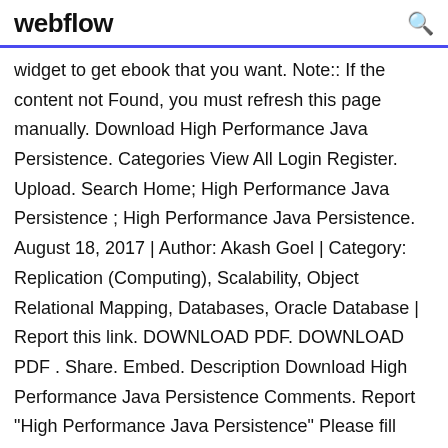webflow
widget to get ebook that you want. Note:: If the content not Found, you must refresh this page manually. Download High Performance Java Persistence. Categories View All Login Register. Upload. Search Home; High Performance Java Persistence ; High Performance Java Persistence. August 18, 2017 | Author: Akash Goel | Category: Replication (Computing), Scalability, Object Relational Mapping, Databases, Oracle Database | Report this link. DOWNLOAD PDF. DOWNLOAD PDF . Share. Embed. Description Download High Performance Java Persistence Comments. Report "High Performance Java Persistence" Please fill improvement pdf. Ultimate guide to